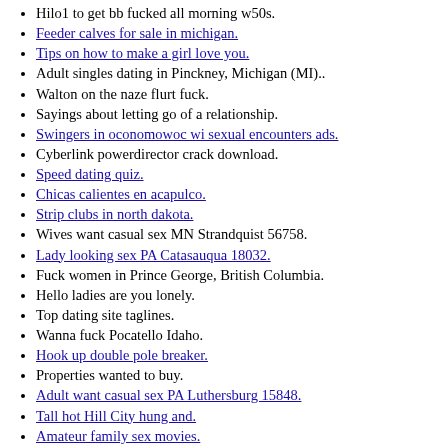Hilo1 to get bb fucked all morning w50s.
Feeder calves for sale in michigan.
Tips on how to make a girl love you.
Adult singles dating in Pinckney, Michigan (MI)..
Walton on the naze flurt fuck.
Sayings about letting go of a relationship.
Swingers in oconomowoc wi sexual encounters ads.
Cyberlink powerdirector crack download.
Speed dating quiz.
Chicas calientes en acapulco.
Strip clubs in north dakota.
Wives want casual sex MN Strandquist 56758.
Lady looking sex PA Catasauqua 18032.
Fuck women in Prince George, British Columbia.
Hello ladies are you lonely.
Top dating site taglines.
Wanna fuck Pocatello Idaho.
Hook up double pole breaker.
Properties wanted to buy.
Adult want casual sex PA Luthersburg 15848.
Tall hot Hill City hung and.
Amateur family sex movies.
Logan County Family Lawyers